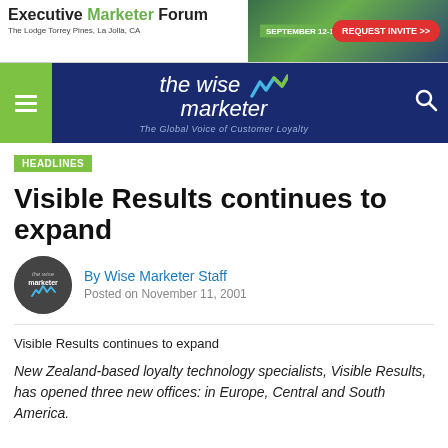[Figure (infographic): Executive Marketer Forum banner ad with green and navy background, The Lodge Torrey Pines La Jolla CA, September 12-13 2022, REQUEST INVITE button]
[Figure (logo): The Wise Marketer logo on dark navy navbar with hamburger menu and search icon, tagline: The Global Voice of Customer Loyalty]
HEADLINES
Visible Results continues to expand
By Wise Marketer Staff
Posted on November 11, 2001
Visible Results continues to expand
New Zealand-based loyalty technology specialists, Visible Results, has opened three new offices: in Europe, Central and South America.